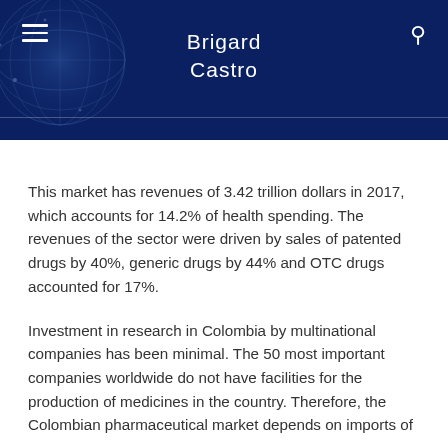Brigard Castro
This market has revenues of 3.42 trillion dollars in 2017, which accounts for 14.2% of health spending. The revenues of the sector were driven by sales of patented drugs by 40%, generic drugs by 44% and OTC drugs accounted for 17%.
Investment in research in Colombia by multinational companies has been minimal. The 50 most important companies worldwide do not have facilities for the production of medicines in the country. Therefore, the Colombian pharmaceutical market depends on imports of